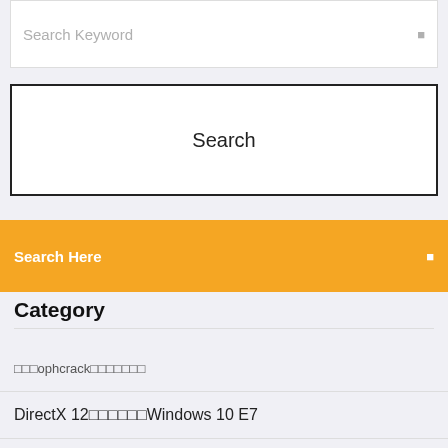Search Keyword
Search
Search Here
Category
〓〓〓ophcrack〓〓〓〓〓〓〓
DirectX 12〓〓〓〓〓〓Windows 10 E7
〓〓〓〓〓〓〓〓〓〓〓〓〓